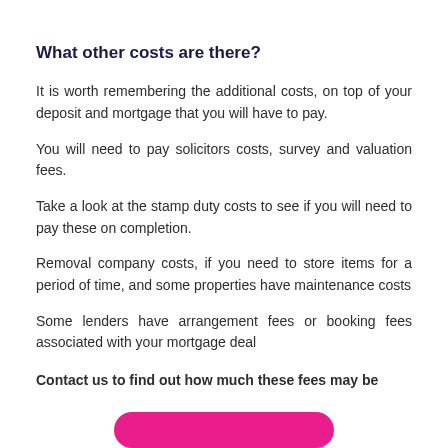What other costs are there?
It is worth remembering the additional costs, on top of your deposit and mortgage that you will have to pay.
You will need to pay solicitors costs, survey and valuation fees.
Take a look at the stamp duty costs to see if you will need to pay these on completion.
Removal company costs, if you need to store items for a period of time, and some properties have maintenance costs
Some lenders have arrangement fees or booking fees associated with your mortgage deal
Contact us to find out how much these fees may be
[Figure (other): Pink/magenta rounded button at the bottom of the page]